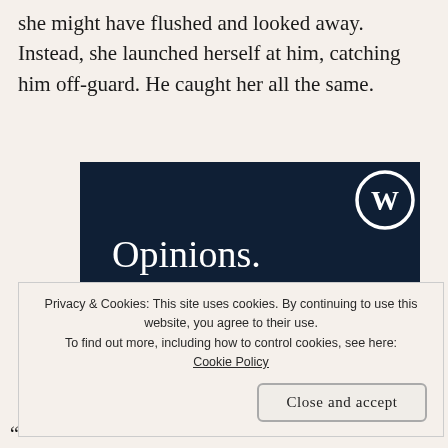she might have flushed and looked away. Instead, she launched herself at him, catching him off-guard. He caught her all the same.
[Figure (screenshot): WordPress advertisement banner with dark navy background showing a WordPress logo (W in circle) in top right corner, text 'Opinions.' in regular weight and 'We all have them!' in bold white serif font.]
Privacy & Cookies: This site uses cookies. By continuing to use this website, you agree to their use.
To find out more, including how to control cookies, see here: Cookie Policy
Close and accept
“